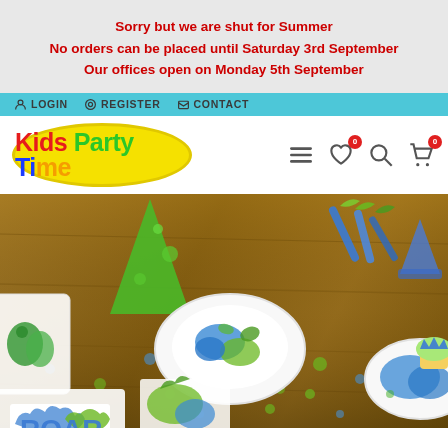Sorry but we are shut for Summer
No orders can be placed until Saturday 3rd September
Our offices open on Monday 5th September
LOGIN   REGISTER   CONTACT
[Figure (logo): Kids Party Time logo in yellow oval with colorful letters]
[Figure (photo): Party table with dinosaur-themed party supplies including plates, cups, napkins, party hats, cupcake, and ROAR text decorations in blue and green]